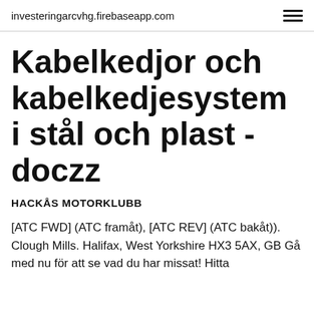investeringarcvhg.firebaseapp.com
Kabelkedjor och kabelkedjesystem i stål och plast - doczz
HACKÅS MOTORKLUBB
[ATC FWD] (ATC framåt), [ATC REV] (ATC bakåt)). Clough Mills. Halifax, West Yorkshire HX3 5AX, GB Gå med nu för att se vad du har missat! Hitta